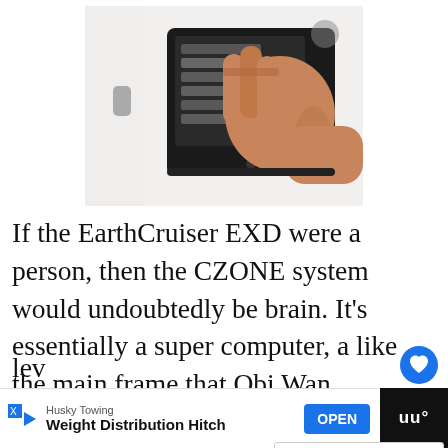[Figure (photo): A hand touching or swiping a black touchscreen panel mounted on a white surface. The screen displays a menu list.]
If the EarthCruiser EXD were a person, then the CZONE system would undoubtedly be brain. It's essentially a super computer, a like the main frame that Obi Wan Kenobi to shut down, except this one has touchscreen panel instead of scary-looking lev